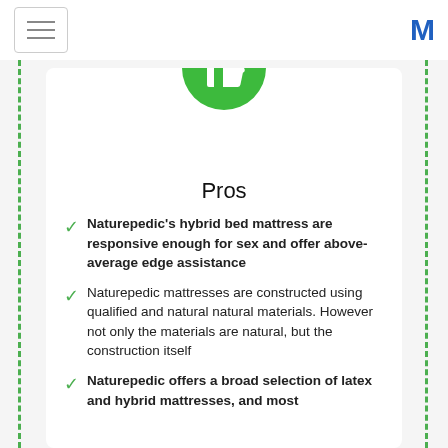[hamburger menu] [M logo]
[Figure (illustration): Green circle with white thumbs-up icon]
Pros
Naturepedic's hybrid bed mattress are responsive enough for sex and offer above-average edge assistance
Naturepedic mattresses are constructed using qualified and natural natural materials. However not only the materials are natural, but the construction itself
Naturepedic offers a broad selection of latex and hybrid mattresses, and most